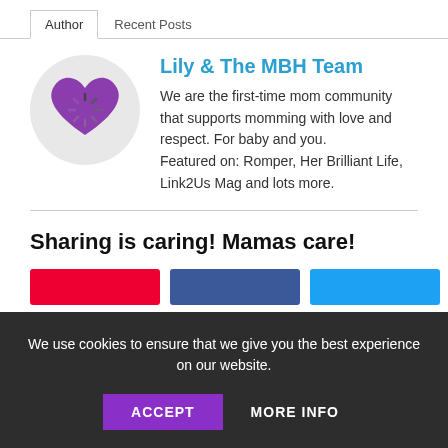Author | Recent Posts
Lily & The MBH Team
We are the first-time mom community that supports momming with love and respect. For baby and you. Featured on: Romper, Her Brilliant Life, Link2Us Mag and lots more.
Sharing is caring! Mamas care!
[Figure (other): Three share buttons: red, blue, and cyan/light-blue]
We use cookies to ensure that we give you the best experience on our website.
ACCEPT  MORE INFO